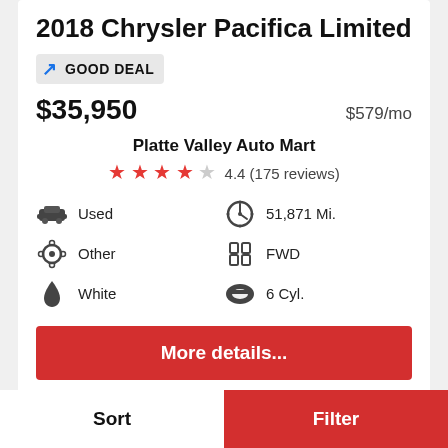2018 Chrysler Pacifica Limited
GOOD DEAL
$35,950  $579/mo
Platte Valley Auto Mart
4.4 (175 reviews)
Used
51,871 Mi.
Other
FWD
White
6 Cyl.
More details...
Sort
Filter